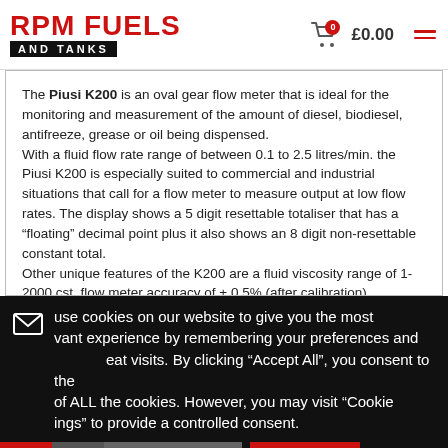RPM FUELS AND TANKS  £0.00
The Piusi K200 is an oval gear flow meter that is ideal for the monitoring and measurement of the amount of diesel, biodiesel, antifreeze, grease or oil being dispensed. With a fluid flow rate range of between 0.1 to 2.5 litres/min. the Piusi K200 is especially suited to commercial and industrial situations that call for a flow meter to measure output at low flow rates. The display shows a 5 digit resettable totaliser that has a "floating" decimal point plus it also shows an 8 digit non-resettable constant total. Other unique features of the K200 are a fluid viscosity range of 1-2000 cst. flow meter accuracy of + 0.5% (after calibration)
use cookies on our website to give you the most vant experience by remembering your preferences and eat visits. By clicking "Accept All", you consent to the of ALL the cookies. However, you may visit "Cookie ings" to provide a controlled consent.
Cookie Settings   Accept All